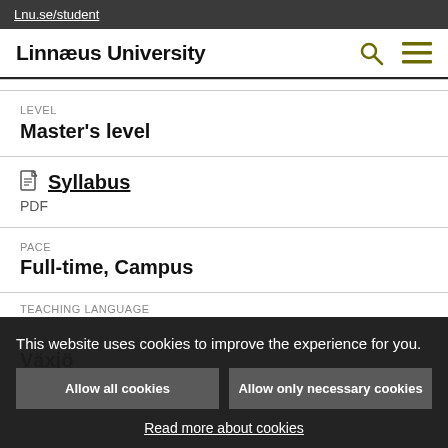Lnu.se/student
Linnæus University
| Field | Value |
| --- | --- |
| LEVEL | Master's level |
| Syllabus | PDF |
| PACE | Full-time, Campus |
This website uses cookies to improve the experience for you.
Allow all cookies
Allow only necessary cookies
Read more about cookies
CITY
Växjö